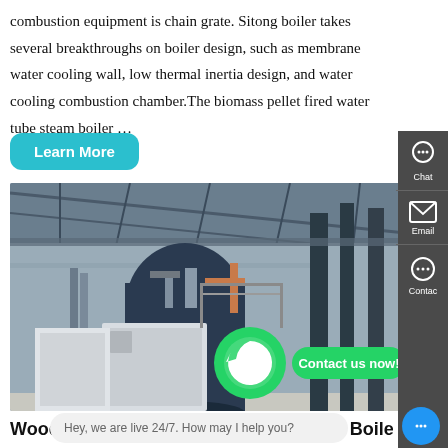combustion equipment is chain grate. Sitong boiler takes several breakthroughs on boiler design, such as membrane water cooling wall, low thermal inertia design, and water cooling combustion chamber.The biomass pellet fired water tube steam boiler …
Learn More
[Figure (photo): Industrial boiler facility interior showing large cylindrical boilers with pipework in a warehouse setting. WhatsApp contact button overlay.]
Wood Boiler, Biomass Boiler. Firewood Boiler, Pellet Boiler
Hey, we are live 24/7. How may I help you?